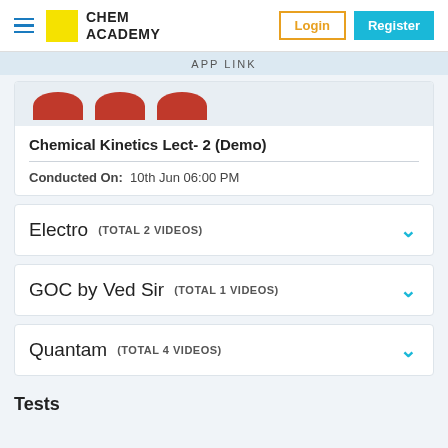CHEM ACADEMY | Login | Register
APP LINK
[Figure (screenshot): Three red arch/avatar icons at the top of a course card]
Chemical Kinetics Lect- 2 (Demo)
Conducted On: 10th Jun 06:00 PM
Electro (TOTAL 2 VIDEOS)
GOC by Ved Sir (TOTAL 1 VIDEOS)
Quantam (TOTAL 4 VIDEOS)
Tests